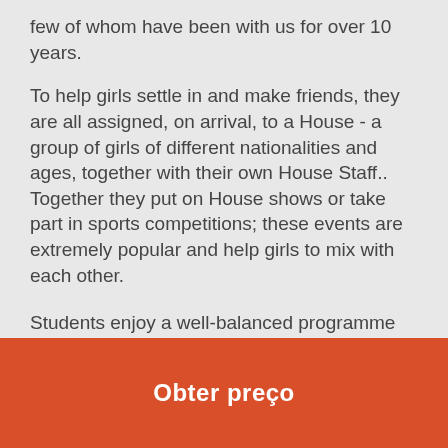few of whom have been with us for over 10 years.
To help girls settle in and make friends, they are all assigned, on arrival, to a House - a group of girls of different nationalities and ages, together with their own House Staff.. Together they put on House shows or take part in sports competitions; these events are extremely popular and help girls to mix with each other.
Students enjoy a well-balanced programme which comprises 20 English lessons (15 hours' tuition) per week in the mornings, three weekly excursions and an exciting range of activities in the afternoons and evenings. Older girls aged 14 – 17 can also enjoy a week on our English with Style course which includes British culture and etiquette, fashion and well-being
Obter preço